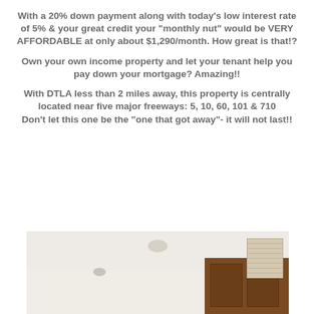With a 20% down payment along with today's low interest rate of 5% & your great credit your "monthly nut" would be VERY AFFORDABLE at only about $1,290/month. How great is that!?
Own your own income property and let your tenant help you pay down your mortgage? Amazing!!
With DTLA less than 2 miles away, this property is centrally located near five major freeways: 5, 10, 60, 101 & 710
Don't let this one be the "one that got away"- it will not last!!
[Figure (photo): Interior photo of a room showing a white ceiling with a light fixture, wooden kitchen cabinets in brown/walnut finish, and a window blind on the right side.]